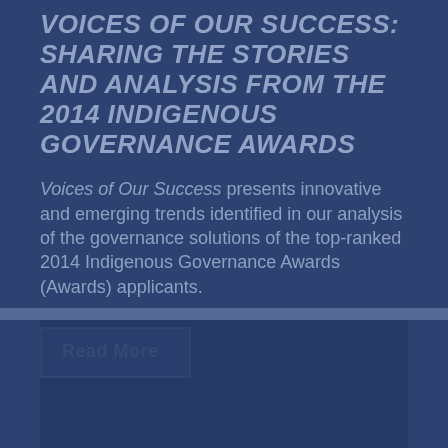VOICES OF OUR SUCCESS: SHARING THE STORIES AND ANALYSIS FROM THE 2014 INDIGENOUS GOVERNANCE AWARDS
Voices of Our Success presents innovative and emerging trends identified in our analysis of the governance solutions of the top-ranked 2014 Indigenous Governance Awards (Awards) applicants.
Read More
[Figure (other): Dark blue rectangular image placeholder at the bottom of the page]